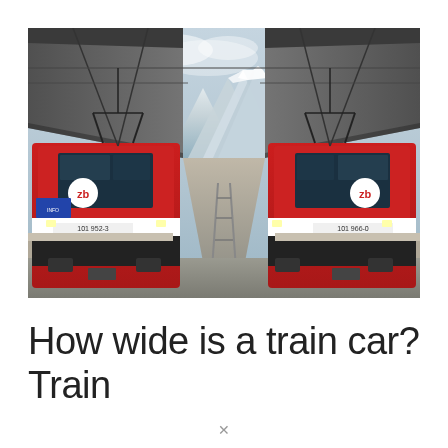[Figure (photo): Two red trains (numbered 101 952-3 and 101 966-0) facing the camera at a train station platform, with overhead electric wires, station canopy roofs on each side, and snow-capped mountains visible in the background between the trains. The trains have the 'zb' logo on them.]
How wide is a train car? Train